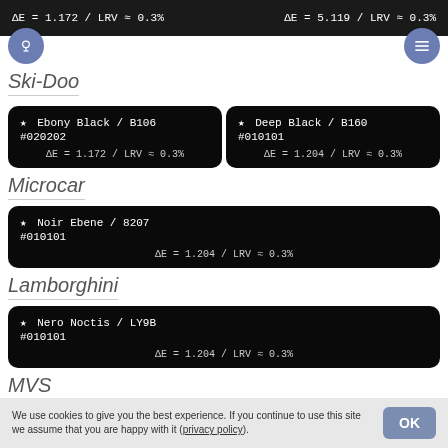ΔE = 1.172 / LRV ≈ 0.3%    ΔE = 5.119 / LRV ≈ 0.3%
Ski-Doo
★ Ebony Black / B106 #020202 ΔE = 1.172 / LRV ≈ 0.3%
★ Deep Black / B160 #010101 ΔE = 1.204 / LRV ≈ 0.3%
Microcar
★ Noir Ebene / 8207 #010101 ΔE = 1.204 / LRV ≈ 0.3%
Lamborghini
★ Nero Noctis / LY9B #010101 ΔE = 1.204 / LRV ≈ 0.3%
MVS
We use cookies to give you the best experience. If you continue to use this site we assume that you are happy with it (privacy policy).